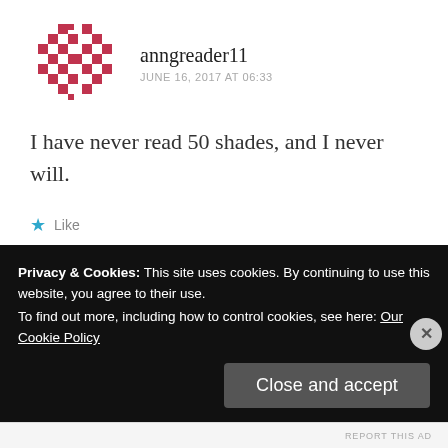[Figure (illustration): Red pixelated/checkered avatar icon for user anngreader11]
anngreader11
JUNE 16, 2017 AT 06:33
I have never read 50 shades, and I never will.
★ Like
[Figure (photo): Round avatar photo of person (achouck), brown/light hair, smiling]
achouck
Privacy & Cookies: This site uses cookies. By continuing to use this website, you agree to their use.
To find out more, including how to control cookies, see here: Our Cookie Policy
Close and accept